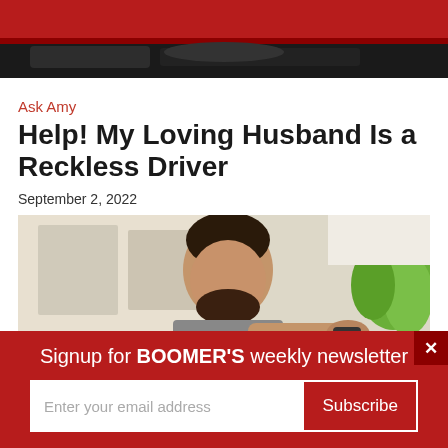[Figure (photo): Partial photo of a red car interior, cropped at top of page]
Ask Amy
Help! My Loving Husband Is a Reckless Driver
September 2, 2022
[Figure (photo): Man with beard resting chin on hand, looking forward, green plant in background]
Signup for BOOMER'S weekly newsletter
Enter your email address
Subscribe